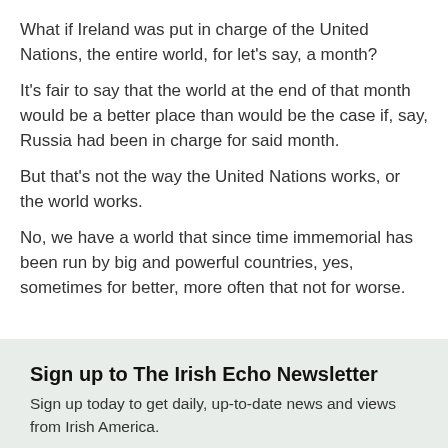What if Ireland was put in charge of the United Nations, the entire world, for let's say, a month?
It's fair to say that the world at the end of that month would be a better place than would be the case if, say, Russia had been in charge for said month.
But that's not the way the United Nations works, or the world works.
No, we have a world that since time immemorial has been run by big and powerful countries, yes, sometimes for better, more often that not for worse.
Sign up to The Irish Echo Newsletter
Sign up today to get daily, up-to-date news and views from Irish America.